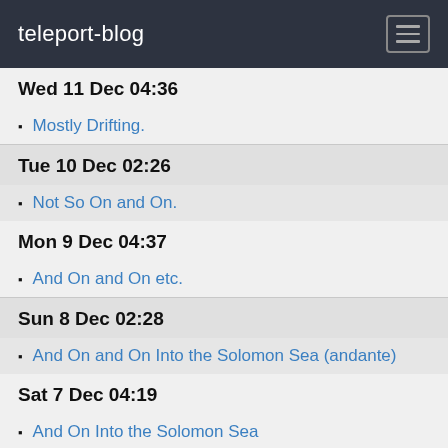teleport-blog
Wed 11 Dec 04:36
Mostly Drifting.
Tue 10 Dec 02:26
Not So On and On.
Mon 9 Dec 04:37
And On and On etc.
Sun 8 Dec 02:28
And On and On Into the Solomon Sea (andante)
Sat 7 Dec 04:19
And On Into the Solomon Sea
Fri 6 Dec 02:10
Papua New Guinea Ho!
Thu 5 Dec 08:21
Hitting the Wall
Wed 4 Dec 02:40
Cutters, Cats and Charts